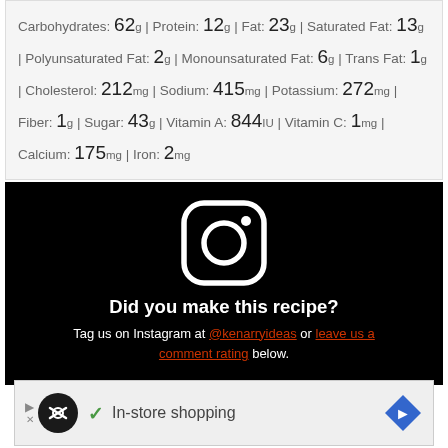Carbohydrates: 62g | Protein: 12g | Fat: 23g | Saturated Fat: 13g | Polyunsaturated Fat: 2g | Monounsaturated Fat: 6g | Trans Fat: 1g | Cholesterol: 212mg | Sodium: 415mg | Potassium: 272mg | Fiber: 1g | Sugar: 43g | Vitamin A: 844IU | Vitamin C: 1mg | Calcium: 175mg | Iron: 2mg
[Figure (logo): Instagram logo icon (white rounded square with circle and dot)]
Did you make this recipe? Tag us on Instagram at @kenarryideas or leave us a comment rating below.
[Figure (infographic): Advertisement banner: In-store shopping with logo icons]